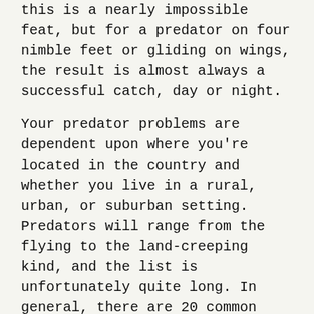this is a nearly impossible feat, but for a predator on four nimble feet or gliding on wings, the result is almost always a successful catch, day or night.
Your predator problems are dependent upon where you're located in the country and whether you live in a rural, urban, or suburban setting. Predators will range from the flying to the land-creeping kind, and the list is unfortunately quite long. In general, there are 20 common chicken predators to look out for.
20 common chicken predators
1. Hawk
2. Eagle
3. Raven
4. Owl
5. Bear
6. B...